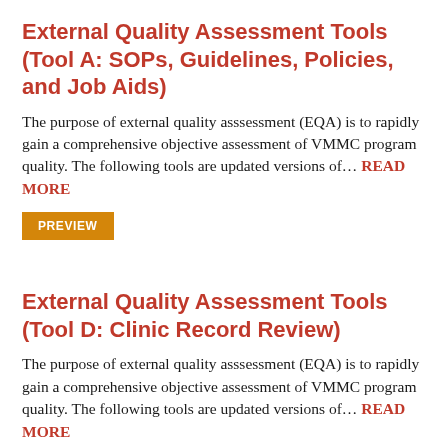External Quality Assessment Tools (Tool A: SOPs, Guidelines, Policies, and Job Aids)
The purpose of external quality asssessment (EQA) is to rapidly gain a comprehensive objective assessment of VMMC program quality. The following tools are updated versions of… READ MORE
PREVIEW
External Quality Assessment Tools (Tool D: Clinic Record Review)
The purpose of external quality asssessment (EQA) is to rapidly gain a comprehensive objective assessment of VMMC program quality. The following tools are updated versions of… READ MORE
PREVIEW